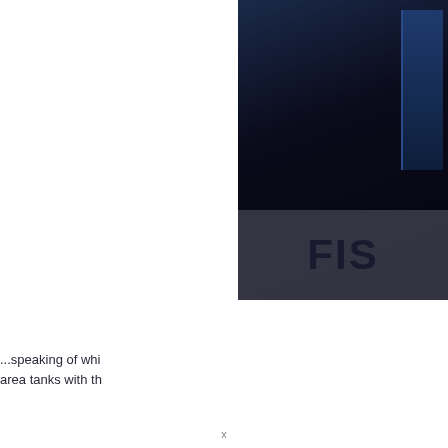[Figure (photo): Dark photo showing shelving or display area in background, with a sign/logo partially visible showing 'FIS' text in large bold letters on a darker overlay panel at bottom of image. Upper right portion of page.]
...speaking of whi area tanks with th
[Figure (photo): Partial photo showing what appears to be a light-colored surface or ledge, likely a tank or shelf edge, visible in lower right corner.]
x